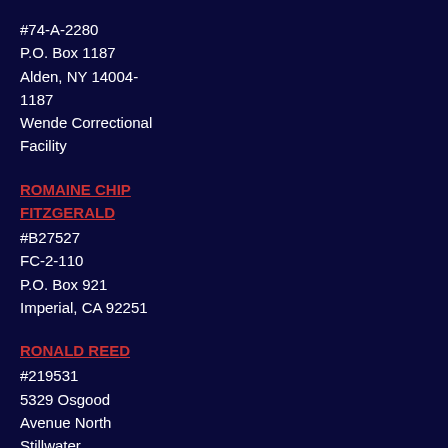#74-A-2280
P.O. Box 1187
Alden, NY 14004-1187
Wende Correctional Facility
ROMAINE CHIP FITZGERALD
#B27527
FC-2-110
P.O. Box 921
Imperial, CA 92251
RONALD REED
#219531
5329 Osgood Avenue North
Stillwater, Minnesota 55082-1117